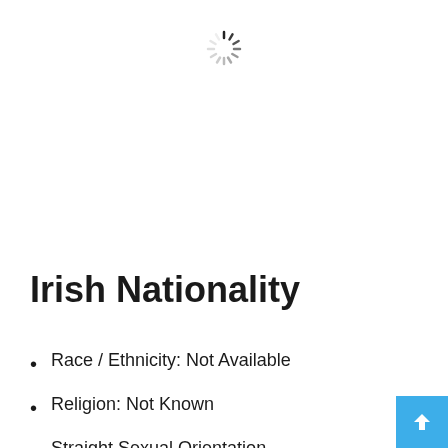[Figure (other): A spinning/loading indicator (spinner) centered near the top of the page]
Irish Nationality
Race / Ethnicity: Not Available
Religion: Not Known
Straight Sexual Orientation
Ray Stevenson celebrating birthday